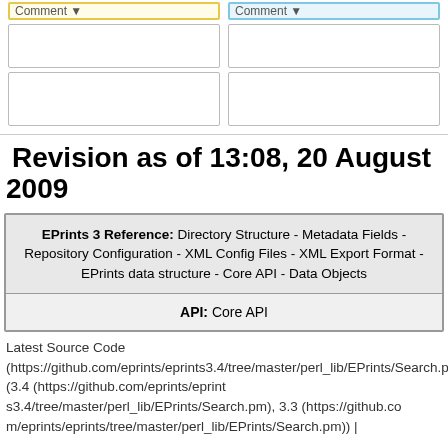[Figure (screenshot): Two input form columns, each with a yellow/blue comment dropdown and two text input boxes]
Revision as of 13:08, 20 August 2009
EPrints 3 Reference: Directory Structure - Metadata Fields - Repository Configuration - XML Config Files - XML Export Format - EPrints data structure - Core API - Data Objects
API: Core API
Latest Source Code (https://github.com/eprints/eprints3.4/tree/master/perl_lib/EPrints/Search.pm) (3.4 (https://github.com/eprints/eprints3.4/tree/master/perl_lib/EPrints/Search.pm), 3.3 (https://github.com/eprints/eprints-tree/master/perl_lib/EPrints/Search.pm)) |